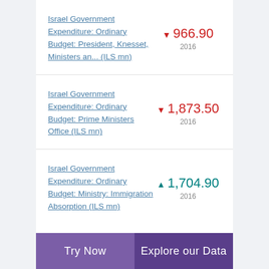Israel Government Expenditure: Ordinary Budget: President, Knesset, Ministers an... (ILS mn)
Israel Government Expenditure: Ordinary Budget: Prime Ministers Office (ILS mn)
Israel Government Expenditure: Ordinary Budget: Ministry: Immigration Absorption (ILS mn)
Try Now | Explore our Data